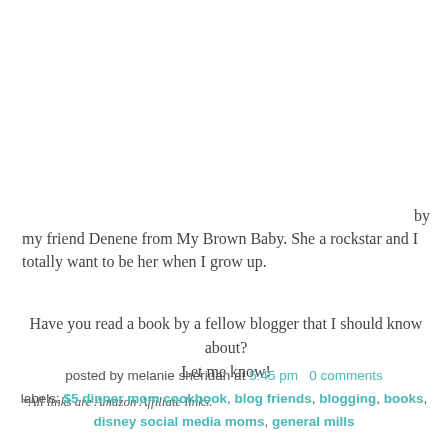by my friend Denene from My Brown Baby. She a rockstar and I totally want to be her when I grow up.
Have you read a book by a fellow blogger that I should know about?
Let me know!
*All links are Amazon Affiliate links.
posted by melanie sheridan at 5:45 pm   0 comments
labels: $5 dinner mom cookbook, blog friends, blogging, books, disney social media moms, general mills